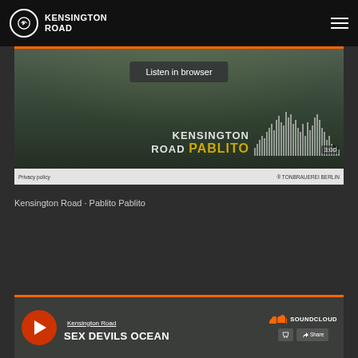Kensington Road
[Figure (screenshot): SoundCloud embedded music player showing 'Kensington Road - Pablito Pablito' with waveform, 3:00 duration, forest background image, Listen in browser button, and Tonbrauerei Berlin branding]
Kensington Road · Pablito Pablito
[Figure (screenshot): Second SoundCloud embedded player showing 'Kensington Road - SEX DEVILS OCEAN' with play button, SoundCloud logo, cart and share buttons]